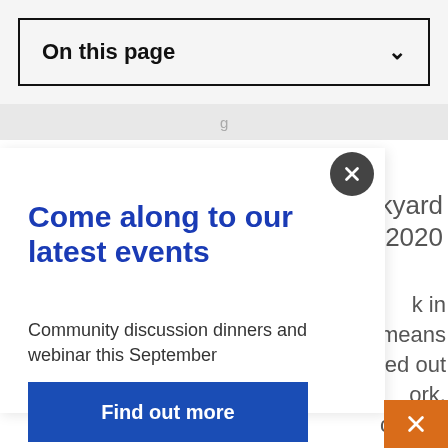On this page
Come along to our latest events
Community discussion dinners and webinar this September
Find out more